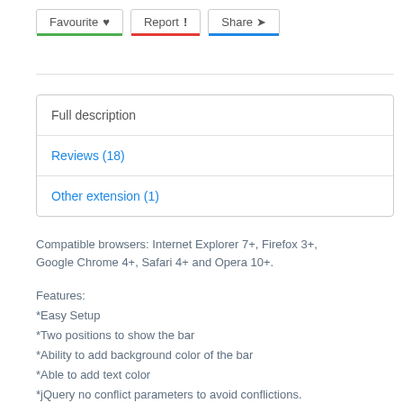Favourite ♥   Report !   Share ➤
| Full description |
| Reviews (18) |
| Other extension (1) |
Compatible browsers: Internet Explorer 7+, Firefox 3+, Google Chrome 4+, Safari 4+ and Opera 10+.
Features:
*Easy Setup
*Two positions to show the bar
*Ability to add background color of the bar
*Able to add text color
*jQuery no conflict parameters to avoid conflictions.